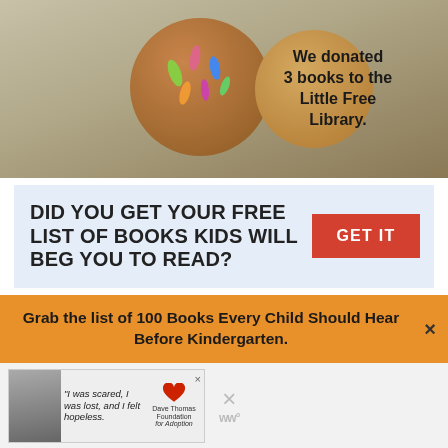[Figure (photo): Photo of decorated clay/cookie circles with text 'We donated 3 books to the Little Free Library.' written on one]
DID YOU GET YOUR FREE LIST OF BOOKS KIDS WILL BEG YOU TO READ?
GET IT
Sharing is caring!
8198 SHARES
Grab the list of 100 Books Every Child Should Hear Before Kindergarten.
[Figure (photo): Advertisement showing a young woman with quote 'I was scared, I was lost, and I felt hopeless.' and Dave Thomas Foundation for Adoption logo]